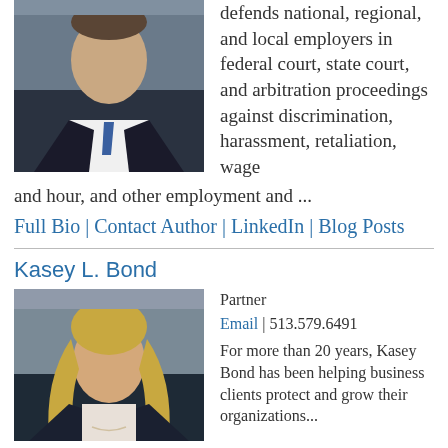[Figure (photo): Professional headshot of a man in a dark suit and blue tie]
defends national, regional, and local employers in federal court, state court, and arbitration proceedings against discrimination, harassment, retaliation, wage and hour, and other employment and ...
Full Bio | Contact Author | LinkedIn | Blog Posts
Kasey L. Bond
[Figure (photo): Professional headshot of a woman with blonde hair in a dark jacket]
Partner
Email | 513.579.6491
For more than 20 years, Kasey Bond has been helping business clients protect and grow their organizations...